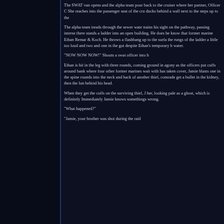The SWAT van opens and the alpha team pours out. Bravo back to the cruiser where her partner, Officer C... She reaches into the passenger seat of the cru... ducks behind a wall next to the steps up to the...
The alpha team treads through the sewer wate... trains his sight on the pathway, passing interse... there stands a ladder into an open building. He... does he know that former marine Ethan Remar... & Koch. He throws a flashbang up to the surfa... the rungs of the ladder a little too loud and two... and one in the gut despite Ethan's temporary b... water.
"NOW NOW NOW!" Shouts a swat officer into h...
Ethan is hit in the leg with three rounds, coming... ground in agony as the officers put cuffs around... bank where four other former marines wait with... has taken cover, Jamie blasts one in the spine ... rounds into the neck and back of another thief,... comrade get a bullet in the kidney, then the lun... behind his head.
When they get the cuffs on the surviving thief, J... her, looking pale as a ghost, which is definitely ... Immediately Jamie knows somethings wrong.
"What happened?"
"Jamie, your brother was shot during the raid...